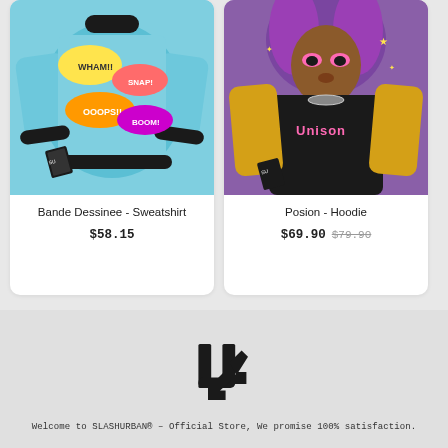[Figure (photo): Bande Dessinee comic-themed colorful sweatshirt product photo on light blue background]
Bande Dessinee - Sweatshirt
$58.15
[Figure (photo): Posion hoodie with anime-style girl graphic, purple and black colorway]
Posion - Hoodie
$69.90 $79.90
[Figure (logo): SLASHURBAN stylized U/R logo mark in black]
Welcome to SLASHURBAN® – Official Store, We promise 100% satisfaction.